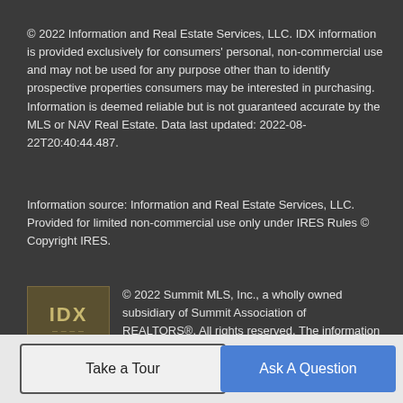© 2022 Information and Real Estate Services, LLC. IDX information is provided exclusively for consumers' personal, non-commercial use and may not be used for any purpose other than to identify prospective properties consumers may be interested in purchasing. Information is deemed reliable but is not guaranteed accurate by the MLS or NAV Real Estate. Data last updated: 2022-08-22T20:40:44.487.
Information source: Information and Real Estate Services, LLC. Provided for limited non-commercial use only under IRES Rules © Copyright IRES.
[Figure (logo): IDX logo - brown/tan box with 'IDX' text]
© 2022 Summit MLS, Inc., a wholly owned subsidiary of Summit Association of REALTORS®. All rights reserved. The information being provided is for the consumer's non-commercial, personal use and may not be used for any purpose other than to identify prospective properties consumer may be
Take a Tour
Ask A Question